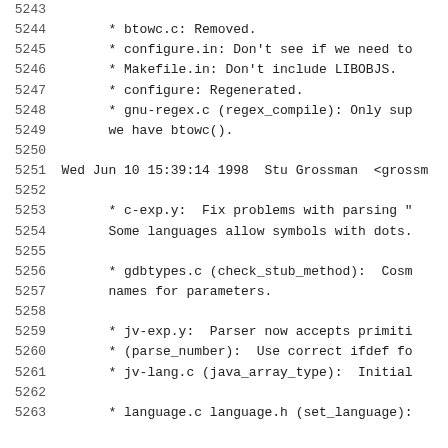Source code changelog lines 5243-5263, showing commit entries with file changes.